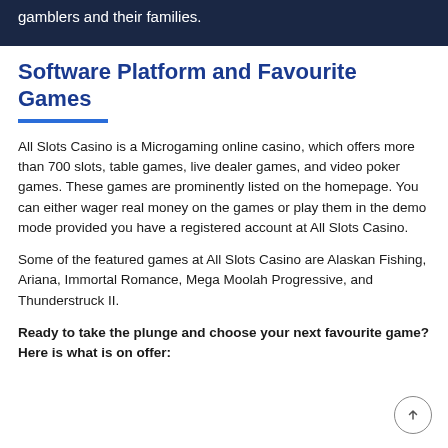gamblers and their families.
Software Platform and Favourite Games
All Slots Casino is a Microgaming online casino, which offers more than 700 slots, table games, live dealer games, and video poker games. These games are prominently listed on the homepage. You can either wager real money on the games or play them in the demo mode provided you have a registered account at All Slots Casino.
Some of the featured games at All Slots Casino are Alaskan Fishing, Ariana, Immortal Romance, Mega Moolah Progressive, and Thunderstruck II.
Ready to take the plunge and choose your next favourite game? Here is what is on offer: